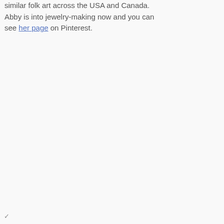similar folk art across the USA and Canada. Abby is into jewelry-making now and you can see her page on Pinterest.